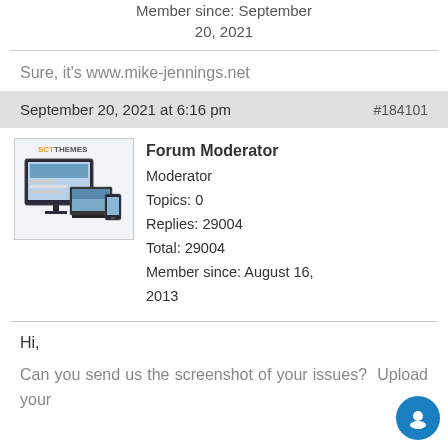Member since: September 20, 2021
Sure, it's www.mike-jennings.net
September 20, 2021 at 6:16 pm   #184101
[Figure (screenshot): Forum moderator avatar showing SCTThemes branded image with devices (desktop, laptop, tablet, phone)]
Forum Moderator
Moderator
Topics: 0
Replies: 29004
Total: 29004
Member since: August 16, 2013
Hi,
Can you send us the screenshot of your issues? Upload your